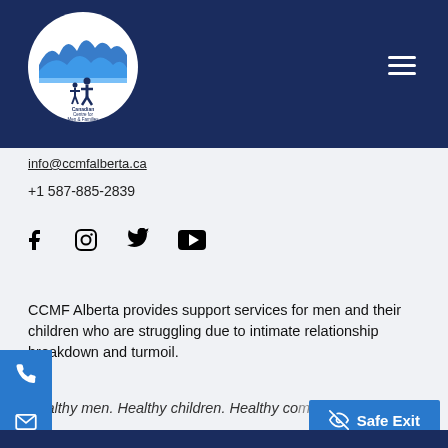[Figure (logo): CCMF Alberta circular logo with mountains and human figures, white background on dark navy header]
info@ccmfalberta.ca
+1 587-885-2839
[Figure (infographic): Social media icons: Facebook, Instagram, Twitter, YouTube]
CCMF Alberta provides support services for men and their children who are struggling due to intimate relationship breakdown and turmoil.
Healthy men. Healthy children. Healthy communities.